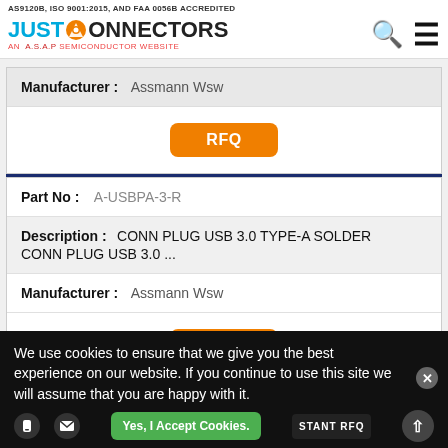AS9120B, ISO 9001:2015, AND FAA 0056B ACCREDITED — JUST CONNECTORS — AN A.S.A.P SEMICONDUCTOR WEBSITE
| Field | Value |
| --- | --- |
| Manufacturer : | Assmann Wsw |
| RFQ |  |
| Part No : | A-USBPA-3-R |
| Description : | CONN PLUG USB 3.0 TYPE-A SOLDER CONN PLUG USB 3.0 ... |
| Manufacturer : | Assmann Wsw |
| RFQ |  |
We use cookies to ensure that we give you the best experience on our website. If you continue to use this site we will assume that you are happy with it.